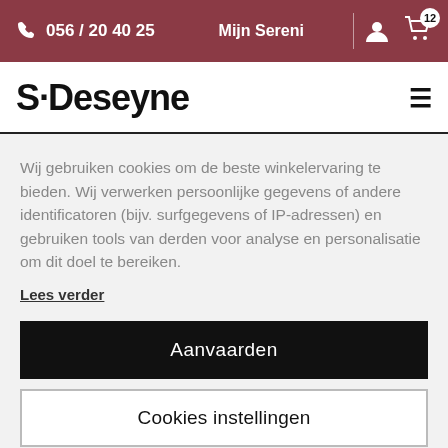056 / 20 40 25   Mijn Sereni   [user icon] [cart icon 12]
S·Deseyne
Wij gebruiken cookies om de beste winkelervaring te bieden. Wij verwerken persoonlijke gegevens of andere identificatoren (bijv. surfgegevens of IP-adressen) en gebruiken tools van derden voor analyse en personalisatie om dit doel te bereiken.
Lees verder
Aanvaarden
Cookies instellingen